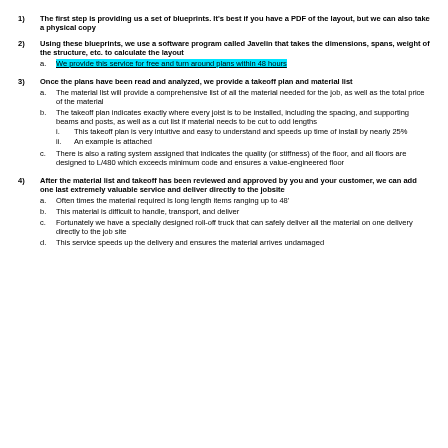1) The first step is providing us a set of blueprints. It's best if you have a PDF of the layout, but we can also take a physical copy
2) Using these blueprints, we use a software program called Javelin that takes the dimensions, spans, weight of the structure, etc. to calculate the layout
  a. We provide this service for free and turn around plans within 48 hours
3) Once the plans have been read and analyzed, we provide a takeoff plan and material list
  a. The material list will provide a comprehensive list of all the material needed for the job, as well as the total price of the material
  b. The takeoff plan indicates exactly where every joist is to be installed, including the spacing, and supporting beams and posts, as well as a cut list if material needs to be cut to odd lengths
    i. This takeoff plan is very intuitive and easy to understand and speeds up time of install by nearly 25%
    ii. An example is attached
  c. There is also a rating system assigned that indicates the quality (or stiffness) of the floor, and all floors are designed to L/480 which exceeds minimum code and ensures a value-engineered floor
4) After the material list and takeoff has been reviewed and approved by you and your customer, we can add one last extremely valuable service and deliver directly to the jobsite
  a. Often times the material required is long length items ranging up to 48'
  b. This material is difficult to handle, transport, and deliver
  c. Fortunately we have a specially designed roll-off truck that can safely deliver all the material on one delivery directly to the job site
  d. This service speeds up the delivery and ensures the material arrives undamaged